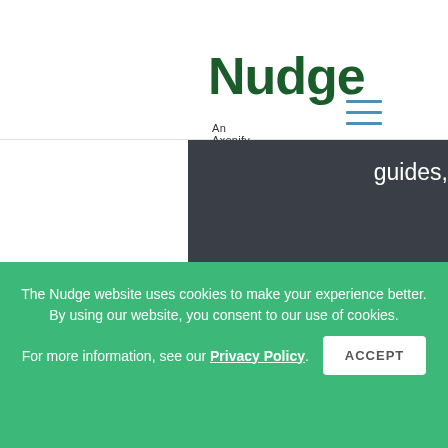[Figure (logo): Nudge - An Axonify Company logo in dark green]
[Figure (other): Hamburger menu icon with three teal horizontal lines]
guides, webinars, podcasts, and more!
Head to the hub!
The Nudge website uses cookies to make your experience better. By using our website, you consent to our use of cookies. For more information, see our Privacy Policy.
ACCEPT